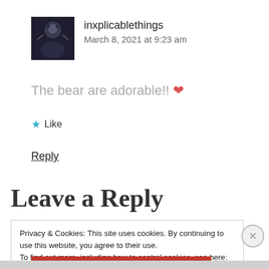[Figure (photo): Avatar image of user inxplicablethings, dark themed profile picture]
inxplicablethings
March 8, 2021 at 9:23 am
The bear are adorable!! ❤
★ Like
Reply
Leave a Reply
Privacy & Cookies: This site uses cookies. By continuing to use this website, you agree to their use.
To find out more, including how to control cookies, see here: Cookie Policy
Close and accept